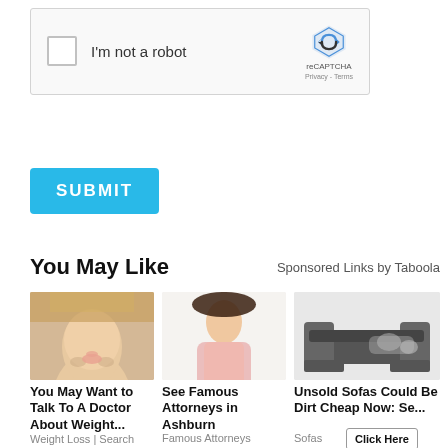[Figure (screenshot): reCAPTCHA widget with checkbox 'I'm not a robot' and reCAPTCHA logo with Privacy and Terms links]
[Figure (screenshot): Blue SUBMIT button]
You May Like
Sponsored Links by Taboola
[Figure (photo): Close-up of a woman's face (blonde hair)]
[Figure (photo): Woman in pink outfit smiling]
[Figure (photo): Dark gray sectional sofa]
You May Want to Talk To A Doctor About Weight...
See Famous Attorneys in Ashburn
Unsold Sofas Could Be Dirt Cheap Now: Se...
Weight Loss | Search Ads
Famous Attorneys
Sofas
[Figure (screenshot): Click Here button]
[Figure (photo): Woman with colorful background (bottom row, partial)]
[Figure (photo): Person with cat (bottom row, partial)]
[Figure (photo): Tennis racket on table (bottom row, partial)]